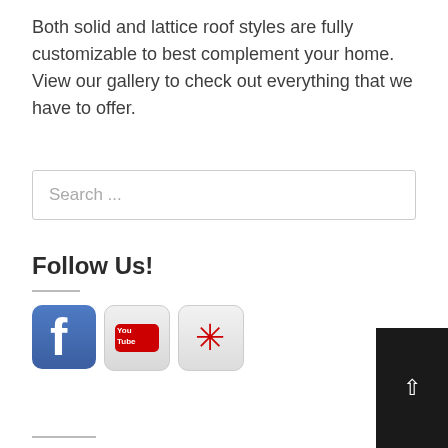Both solid and lattice roof styles are fully customizable to best complement your home. View our gallery to check out everything that we have to offer.
Search ...
Follow Us!
[Figure (illustration): Three social media icons: Facebook (blue 'f' logo), YouTube (You Tube logo on gray background), and Yelp (asterisk/star logo on gray background)]